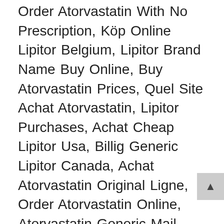Order Atorvastatin With No Prescription, Köp Online Lipitor Belgium, Lipitor Brand Name Buy Online, Buy Atorvastatin Prices, Quel Site Achat Atorvastatin, Lipitor Purchases, Achat Cheap Lipitor Usa, Billig Generic Lipitor Canada, Achat Atorvastatin Original Ligne, Order Atorvastatin Online, Atorvastatin Generic Mail Order, Lipitor Venta Bajo Receta, Acheter Du Lipitor, Where To Purchase Cheap Lipitor Belgique, Genuine Atorvastatin Buy, Lipitor Buy Online, Cheap Lipitor Website, Buy Generic Lipitor Pills, Is Buying Generic Lipitor Online Safe, Lipitor Where Can I Buy It Over The Counter, Achat En Ligne Lipitor Generique, Canadian Pharmacy Cheap Atorvastatin No Prescription, Billig Cheap Lipitor Paris, Beställ Online Lipitor Danmark, Atorvastatin Tabletas For Sale, Achat Atorvastatin Quebec, Buy Atorvastatin Now Online With Mastercard, Lipitor Generic Acheter, Cost Of Generic Atorvastatin,